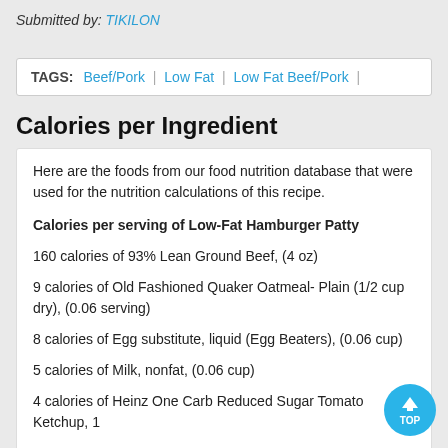Submitted by: TIKILON
TAGS:  Beef/Pork | Low Fat | Low Fat Beef/Pork |
Calories per Ingredient
Here are the foods from our food nutrition database that were used for the nutrition calculations of this recipe.

Calories per serving of Low-Fat Hamburger Patty

160 calories of 93% Lean Ground Beef, (4 oz)

9 calories of Old Fashioned Quaker Oatmeal- Plain (1/2 cup dry), (0.06 serving)

8 calories of Egg substitute, liquid (Egg Beaters), (0.06 cup)

5 calories of Milk, nonfat, (0.06 cup)